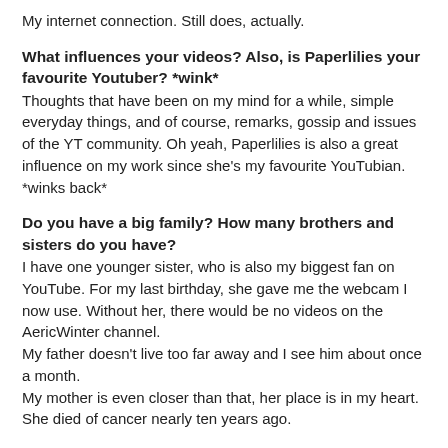My internet connection. Still does, actually.
What influences your videos? Also, is Paperlilies your favourite Youtuber? *wink*
Thoughts that have been on my mind for a while, simple everyday things, and of course, remarks, gossip and issues of the YT community. Oh yeah, Paperlilies is also a great influence on my work since she's my favourite YouTubian. *winks back*
Do you have a big family? How many brothers and sisters do you have?
I have one younger sister, who is also my biggest fan on YouTube. For my last birthday, she gave me the webcam I now use. Without her, there would be no videos on the AericWinter channel.
My father doesn't live too far away and I see him about once a month.
My mother is even closer than that, her place is in my heart. She died of cancer nearly ten years ago.
Andreas' mother was Indonesian, and his father is